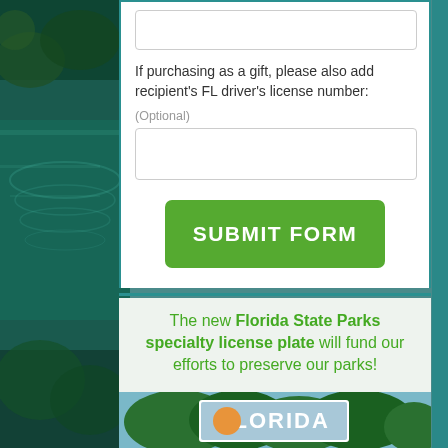[Figure (photo): Florida nature background with teal/green water and trees on left side]
If purchasing as a gift, please also add recipient's FL driver's license number:
(Optional)
[Figure (other): Text input field for optional recipient FL driver's license number]
[Figure (other): Green SUBMIT FORM button]
The new Florida State Parks specialty license plate will fund our efforts to preserve our parks!
[Figure (photo): Florida specialty license plate with FLORIDA text and state parks imagery]